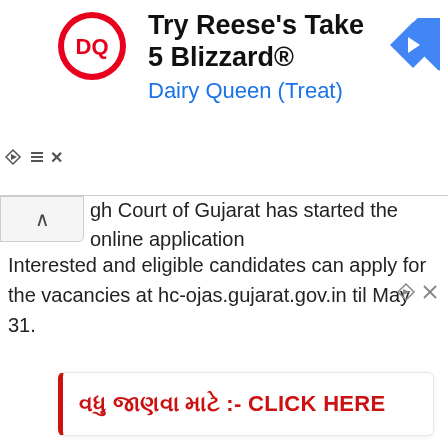[Figure (logo): Dairy Queen advertisement banner with DQ logo, 'Try Reese's Take 5 Blizzard®' text, 'Dairy Queen (Treat)' subtitle in blue, and a blue navigation arrow icon on the right]
gh Court of Gujarat has started the online application
ss for recruitment to the post of Private Secretary.
Interested and eligible candidates can apply for the
vacancies at hc-ojas.gujarat.gov.in til May 31.
[Figure (other): Gujarati text followed by :- CLICK HERE in bold red]
he recruitment drive is being conducted to fill up a total of 15 vacancies of Private Secretary at the High Court.